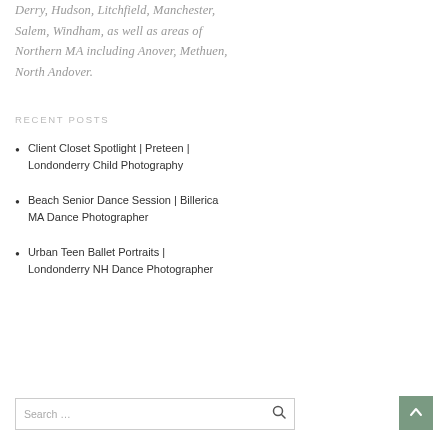Derry, Hudson, Litchfield, Manchester, Salem, Windham, as well as areas of Northern MA including Anover, Methuen, North Andover.
RECENT POSTS
Client Closet Spotlight | Preteen | Londonderry Child Photography
Beach Senior Dance Session | Billerica MA Dance Photographer
Urban Teen Ballet Portraits | Londonderry NH Dance Photographer